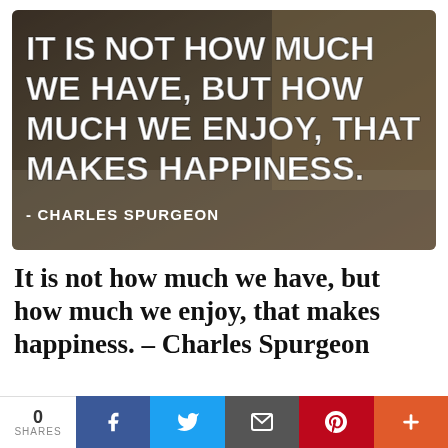[Figure (illustration): A photo of a toddler with a toy camera and stuffed animals on a bed, overlaid with bold white text quote: 'IT IS NOT HOW MUCH WE HAVE, BUT HOW MUCH WE ENJOY, THAT MAKES HAPPINESS.' and attribution '- CHARLES SPURGEON']
It is not how much we have, but how much we enjoy, that makes happiness. – Charles Spurgeon
0 SHARES